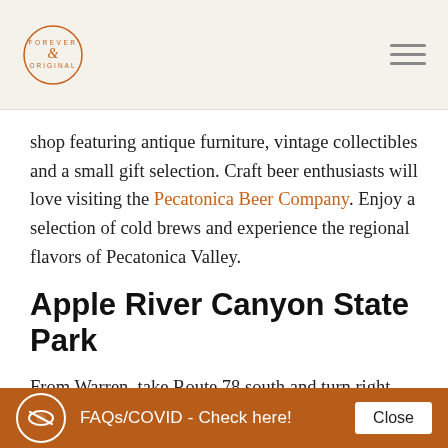Forever & Original logo with hamburger menu
shop featuring antique furniture, vintage collectibles and a small gift selection. Craft beer enthusiasts will love visiting the Pecatonica Beer Company. Enjoy a selection of cold brews and experience the regional flavors of Pecatonica Valley.
Apple River Canyon State Park
From Warren, take Route 78 south and turn right onto E. Canyon Road. This road leads you to the Apple River Canyon State Park, featuring limestone bluffs, deep ravines, springs, streams and plenty wildlife. Brace yourself for a feast of fall colors. Step out, gather a heap
FAQs/COVID - Check here!  Close